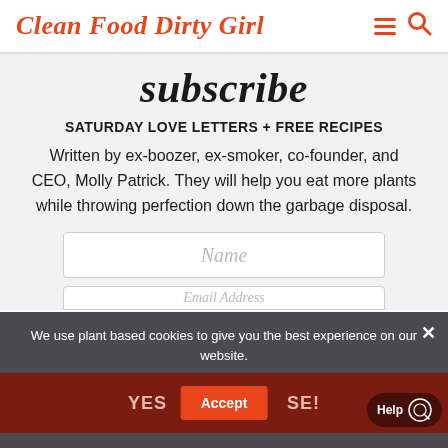Clean Food Dirty Girl
subscribe
SATURDAY LOVE LETTERS + FREE RECIPES
Written by ex-boozer, ex-smoker, co-founder, and CEO, Molly Patrick. They will help you eat more plants while throwing perfection down the garbage disposal.
[Figure (screenshot): Name text input field placeholder]
[Figure (screenshot): Email text input field placeholder (partially visible)]
We use plant based cookies to give you the best experience on our website.
YES... SE!
Accept
Help